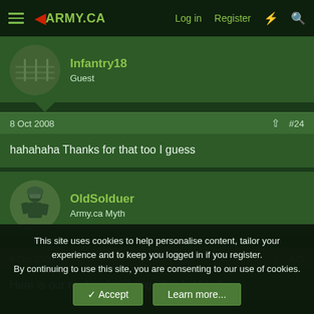ARMY.CA — Log in  Register
Infantry18
Guest
8 Oct 2008  #24
hahahaha Thanks for that too I guess
OldSolduer
Army.ca Myth
8 Oct 2008  #25
Here is our next task: Change this light bulb.
This site uses cookies to help personalise content, tailor your experience and to keep you logged in if you register.
By continuing to use this site, you are consenting to our use of cookies.